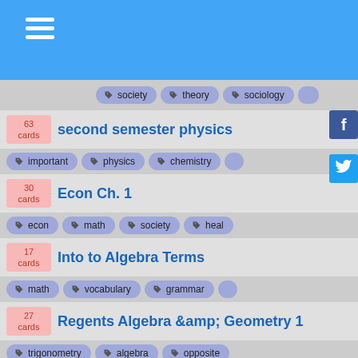society, theory, sociology
63 cards | second semester physics | important, physics, chemistry
30 cards | Econ Ch. 1 | econ, math, society, heal
17 cards | Into to Algebra Terms | math, vocabulary, grammar
27 cards | Regents Algebra &amp; Geometry 1 | trigonometry, algebra, opposite
249 cards | Nursing 124 | biology, medicine, biochemistry
65 cards | Intro into Ed Research Methods | psychology, math, places